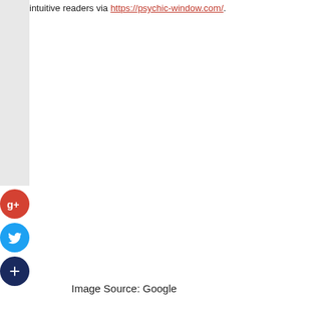intuitive readers via https://psychic-window.com/.
[Figure (other): Social share buttons: Google+, Twitter, and a dark blue plus/share button, displayed as circular icons on the left side of the page]
Image Source: Google